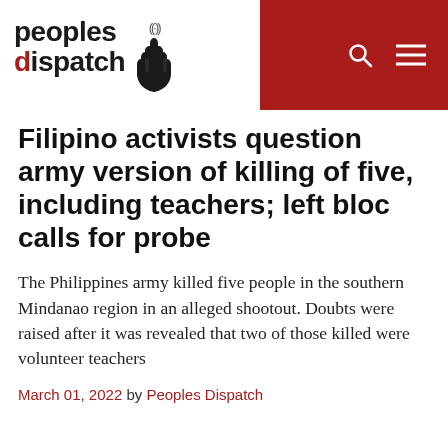peoples dispatch
Filipino activists question army version of killing of five, including teachers; left bloc calls for probe
The Philippines army killed five people in the southern Mindanao region in an alleged shootout. Doubts were raised after it was revealed that two of those killed were volunteer teachers
March 01, 2022 by Peoples Dispatch